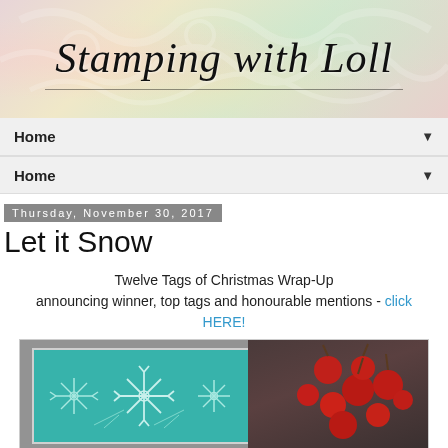[Figure (illustration): Blog header banner with decorative white embossed floral pattern on a pink/yellow/green watercolor background, with cursive script text 'Stamping with Loll' in black]
Home ▼
Home ▼
Thursday, November 30, 2017
Let it Snow
Twelve Tags of Christmas Wrap-Up announcing winner, top tags and honourable mentions - click HERE!
[Figure (photo): Photo of a teal/turquoise card with white snowflake stamped designs on a snowy grey background, beside red berries on a dark background]